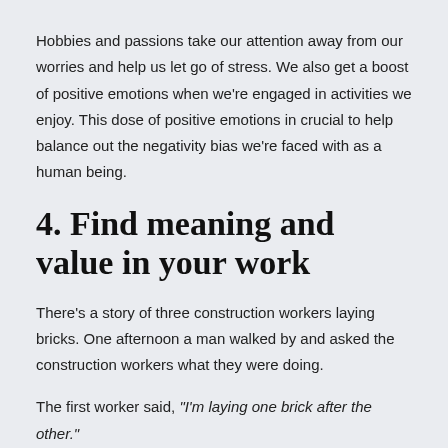Hobbies and passions take our attention away from our worries and help us let go of stress. We also get a boost of positive emotions when we're engaged in activities we enjoy. This dose of positive emotions in crucial to help balance out the negativity bias we're faced with as a human being.
4. Find meaning and value in your work
There's a story of three construction workers laying bricks. One afternoon a man walked by and asked the construction workers what they were doing.
The first worker said, "I'm laying one brick after the other."